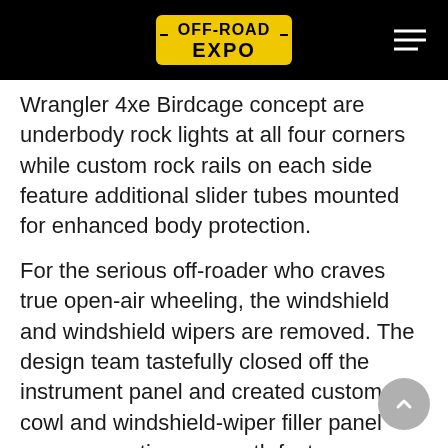Off-Road Expo
Wrangler 4xe Birdcage concept are underbody rock lights at all four corners while custom rock rails on each side feature additional slider tubes mounted for enhanced body protection.
For the serious off-roader who craves true open-air wheeling, the windshield and windshield wipers are removed. The design team tastefully closed off the instrument panel and created custom cowl and windshield-wiper filler panel covers, creating a smooth factory appearance while protecting against dirt and debris. Three concept header-mounted 14-inch JPP TYRI off-road LED lights provide sleek, modern lighting